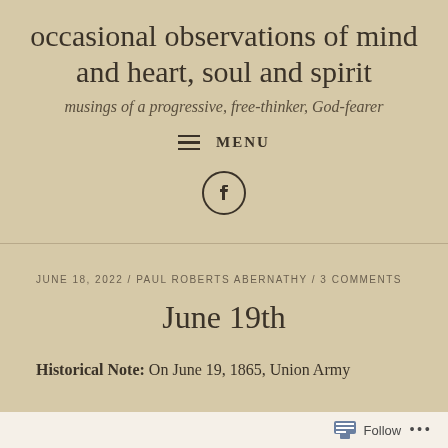occasional observations of mind and heart, soul and spirit
musings of a progressive, free-thinker, God-fearer
≡ MENU
[Figure (logo): Facebook icon circle logo]
JUNE 18, 2022 / PAUL ROBERTS ABERNATHY / 3 COMMENTS
June 19th
Historical Note: On June 19, 1865, Union Army
Follow ...